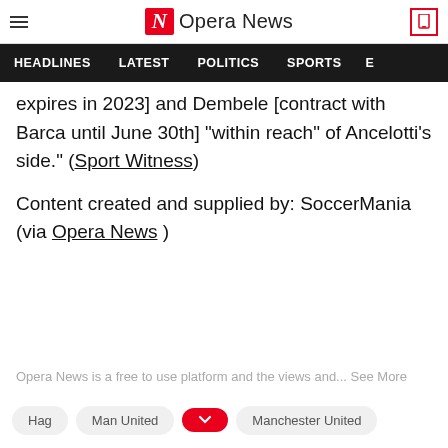Opera News — HEADLINES | LATEST | POLITICS | SPORTS
expires in 2023] and Dembele [contract with Barca until June 30th] "within reach" of Ancelotti's side." (Sport Witness)
Content created and supplied by: SoccerMania (via Opera News )
Opera News is a free to use platform and the views and... See More
Hag   Man United   Manchester United